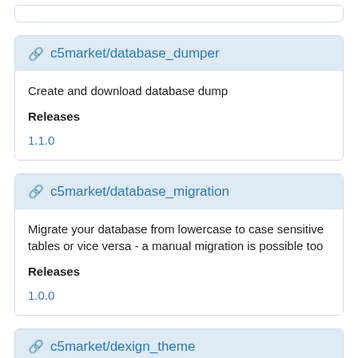c5market/database_dumper
Create and download database dump
Releases
1.1.0
c5market/database_migration
Migrate your database from lowercase to case sensitive tables or vice versa - a manual migration is possible too
Releases
1.0.0
c5market/dexign_theme